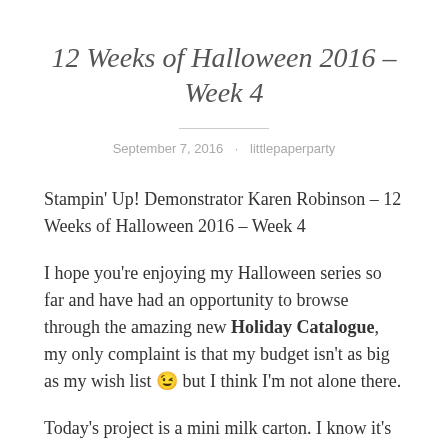12 Weeks of Halloween 2016 – Week 4
September 7, 2016 · littlepaperparty
Stampin' Up! Demonstrator Karen Robinson – 12 Weeks of Halloween 2016 – Week 4
I hope you're enjoying my Halloween series so far and have had an opportunity to browse through the amazing new Holiday Catalogue, my only complaint is that my budget isn't as big as my wish list 😉 but I think I'm not alone there.
Today's project is a mini milk carton. I know it's